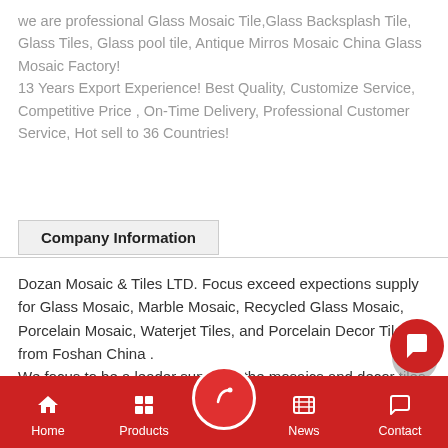we are professional Glass Mosaic Tile,Glass Backsplash Tile, Glass Tiles, Glass pool tile, Antique Mirros Mosaic China Glass Mosaic Factory! 13 Years Export Experience! Best Quality, Customize Service, Competitive Price , On-Time Delivery, Professional Customer Service, Hot sell to 36 Countries!
Company Information
Dozan Mosaic & Tiles LTD. Focus exceed expections supply for Glass Mosaic, Marble Mosaic, Recycled Glass Mosaic, Porcelain Mosaic, Waterjet Tiles, and Porcelain Decor Tiles from Foshan China . We focus to be a leader supply in the mosaics and decor tiles industry for near future. And also focus in cus...
Home  Products  [center button]  News  Contact